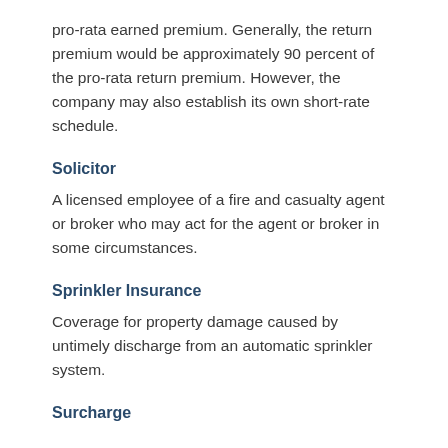pro-rata earned premium. Generally, the return premium would be approximately 90 percent of the pro-rata return premium. However, the company may also establish its own short-rate schedule.
Solicitor
A licensed employee of a fire and casualty agent or broker who may act for the agent or broker in some circumstances.
Sprinkler Insurance
Coverage for property damage caused by untimely discharge from an automatic sprinkler system.
Surcharge